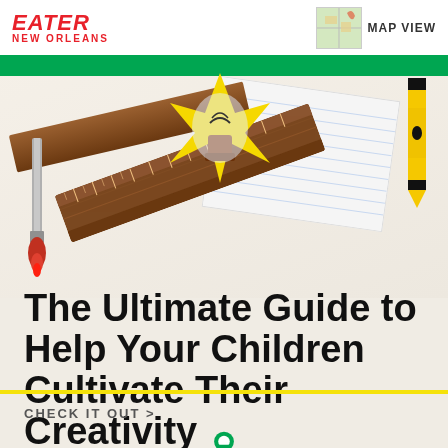EATER NEW ORLEANS | MAP VIEW
[Figure (illustration): Colorful illustrated hero image showing a lightbulb, ruler, paintbrush, notepad, and crayon on a cream crinkled paper background with a green strip at top]
The Ultimate Guide to Help Your Children Cultivate Their Creativity
CHECK IT OUT >